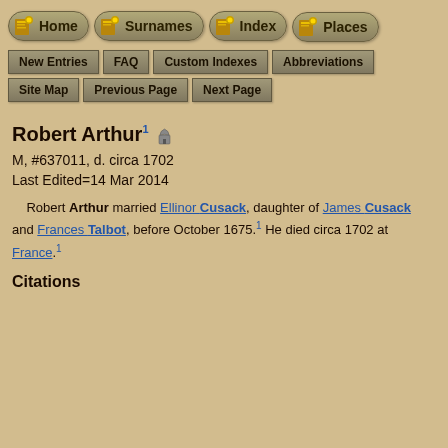Home | Surnames | Index | Places
New Entries | FAQ | Custom Indexes | Abbreviations
Site Map | Previous Page | Next Page
Robert Arthur
M, #637011, d. circa 1702
Last Edited=14 Mar 2014
Robert Arthur married Ellinor Cusack, daughter of James Cusack and Frances Talbot, before October 1675.1 He died circa 1702 at France.1
Citations